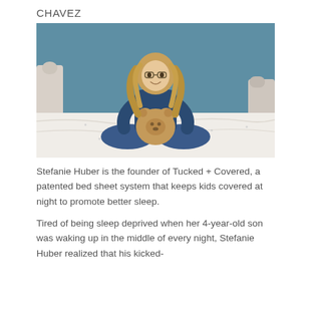CHAVEZ
[Figure (photo): Woman with curly blonde hair and glasses sitting cross-legged on a bed holding a teddy bear, with a teal/blue wall behind her and white bedding around her. White bed frame visible on left and right.]
Stefanie Huber is the founder of Tucked + Covered, a patented bed sheet system that keeps kids covered at night to promote better sleep.
Tired of being sleep deprived when her 4-year-old son was waking up in the middle of every night, Stefanie Huber realized that his kicked-